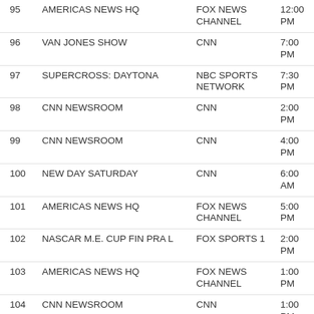| # | Show | Network | Time |
| --- | --- | --- | --- |
| 95 | AMERICAS NEWS HQ | FOX NEWS CHANNEL | 12:00 PM |
| 96 | VAN JONES SHOW | CNN | 7:00 PM |
| 97 | SUPERCROSS: DAYTONA | NBC SPORTS NETWORK | 7:30 PM |
| 98 | CNN NEWSROOM | CNN | 2:00 PM |
| 99 | CNN NEWSROOM | CNN | 4:00 PM |
| 100 | NEW DAY SATURDAY | CNN | 6:00 AM |
| 101 | AMERICAS NEWS HQ | FOX NEWS CHANNEL | 5:00 PM |
| 102 | NASCAR M.E. CUP FIN PRA L | FOX SPORTS 1 | 2:00 PM |
| 103 | AMERICAS NEWS HQ | FOX NEWS CHANNEL | 1:00 PM |
| 104 | CNN NEWSROOM | CNN | 1:00 PM |
| 105 | DAYLIGHT SAVINGS | HALLMARK CHANNEL | 2:00 AM |
| 106 |  | FOX NEWS | 6:00 |